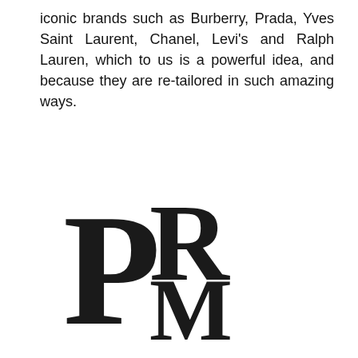iconic brands such as Burberry, Prada, Yves Saint Laurent, Chanel, Levi's and Ralph Lauren, which to us is a powerful idea, and because they are re-tailored in such amazing ways.
[Figure (logo): PRM monogram logo in serif black letters — large overlapping P, R, and M letterforms]